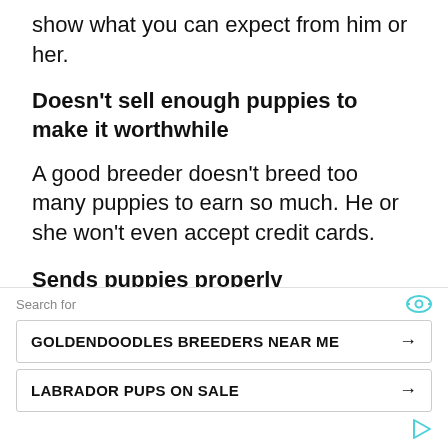show what you can expect from him or her.
Doesn't sell enough puppies to make it worthwhile
A good breeder doesn't breed too many puppies to earn so much. He or she won't even accept credit cards.
Sends puppies properly
A good breeder will never send a puppy in a compartment and without any
[Figure (other): Advertisement overlay with 'Search for' label and two ad buttons: 'GOLDENDOODLES BREEDERS NEAR ME' and 'LABRADOR PUPS ON SALE']